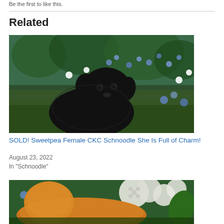Be the first to like this.
Related
[Figure (photo): Black fluffy puppy (Schnoodle) sitting among colorful flowers including daisies and blue flowers in a garden setting]
SOLD! Sweetpea Female CKC Schnoodle She Is Full of Charm!
August 23, 2022
In "Schnoodle"
[Figure (photo): Orange/golden fluffy puppy or dog among blue flowers and white hydrangeas in a garden setting]